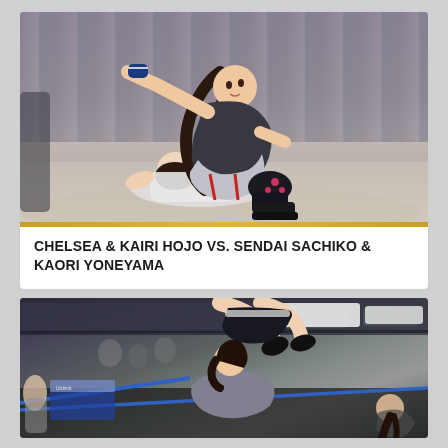[Figure (photo): Two female wrestlers grappling on a mat floor inside a community hall, one in black and silver gear with red accents pinning the other, curtained walls in background]
CHELSEA & KAIRI HOJO VS. SENDAI SACHIKO & KAORI YONEYAMA
[Figure (photo): Female wrestlers in a wrestling ring viewed from low angle, one wrestler being lifted or thrown, ring ropes visible, fluorescent ceiling lights, crowd in background]